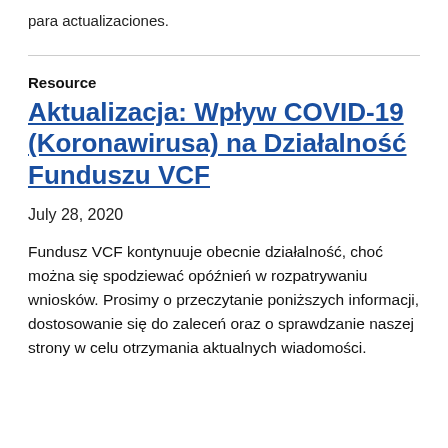para actualizaciones.
Resource
Aktualizacja: Wpływ COVID-19 (Koronawirusa) na Działalność Funduszu VCF
July 28, 2020
Fundusz VCF kontynuuje obecnie działalność, choć można się spodziewać opóźnień w rozpatrywaniu wniosków. Prosimy o przeczytanie poniższych informacji, dostosowanie się do zaleceń oraz o sprawdzanie naszej strony w celu otrzymania aktualnych wiadomości.